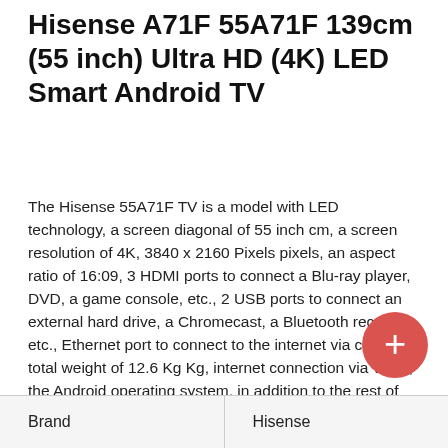Hisense A71F 55A71F 139cm (55 inch) Ultra HD (4K) LED Smart Android TV
The Hisense 55A71F TV is a model with LED technology, a screen diagonal of 55 inch cm, a screen resolution of 4K, 3840 x 2160 Pixels pixels, an aspect ratio of 16:09, 3 HDMI ports to connect a Blu-ray player, DVD, a game console, etc., 2 USB ports to connect an external hard drive, a Chromecast, a Bluetooth receiver etc., Ethernet port to connect to the internet via cable, a total weight of 12.6 Kg Kg, internet connection via Wi-Fi, the Android operating system, in addition to the rest of the features listed below.
Release date: .
| Brand | Hisense |
| --- | --- |